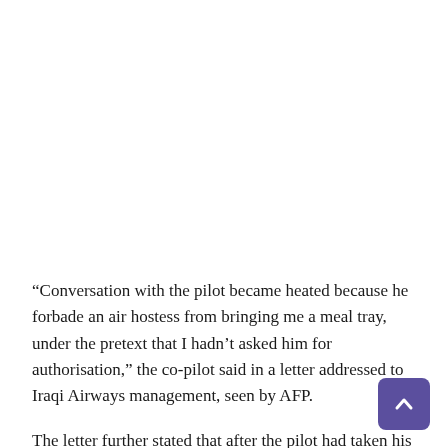“Conversation with the pilot became heated because he forbade an air hostess from bringing me a meal tray, under the pretext that I hadn’t asked him for authorisation,” the co-pilot said in a letter addressed to Iraqi Airways management, seen by AFP.
The letter further stated that after the pilot had taken his